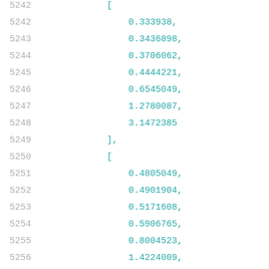5242    [
5242        0.333938,
5243        0.3436898,
5244        0.3706062,
5245        0.4444221,
5246        0.6545049,
5247        1.2780087,
5248        3.1472385
5249    ],
5250    [
5251        0.4805049,
5252        0.4901904,
5253        0.5171608,
5254        0.5906765,
5255        0.8004523,
5256        1.4224009,
5257        3.2897902
5258    ],
5259    [
5260        0.850636,
5261        0.8609843,
5262        0.8890623,